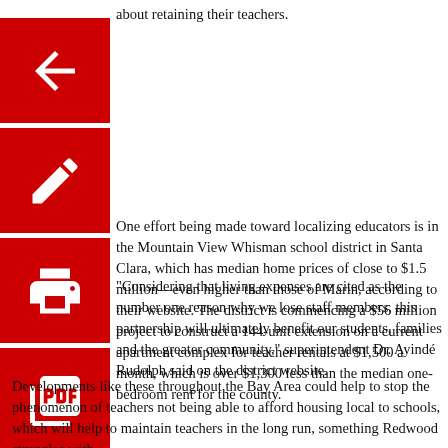about retaining their teachers.
One effort being made toward localizing educators is in the Mountain View Whisman school district in Santa Clara, which has median home prices of close to $1.5 million—even higher than those of Marin, according to their website. The district is commencing a $56 million project to construct a 144-unit extension on a current apartment complex for teacher rentals at $1,500 a month, which is over $1,300 less than the median one-bedroom rent for the county.
"Considering that living expenses are cited as the number one reason why we lose staff members, this partnership will ultimately benefit our students, families and the greater community," superintendent Dr. Ayindé Rudolph said on the district website.
Developments like these throughout the Bay Area could help to stop the phenomenon of teachers not being able to afford housing local to schools, which will help to maintain teachers in the long run, something Redwood struggles with.
"They might come here for a while if they're willing to rent and live in a communal setting because it's an exciting area, but they're not going to stay here and raise kids. I don't think it's possible. I don't think the school could pay enough to make that happen," Jen elite